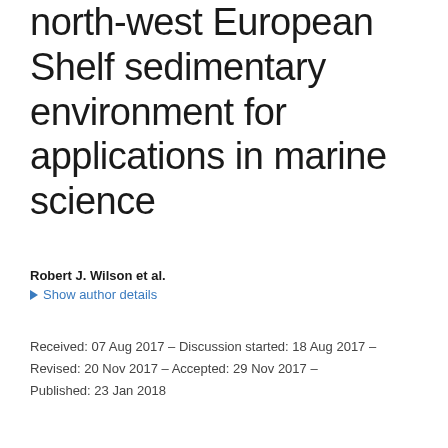north-west European Shelf sedimentary environment for applications in marine science
Robert J. Wilson et al.
▶ Show author details
Received: 07 Aug 2017 – Discussion started: 18 Aug 2017 – Revised: 20 Nov 2017 – Accepted: 29 Nov 2017 – Published: 23 Jan 2018